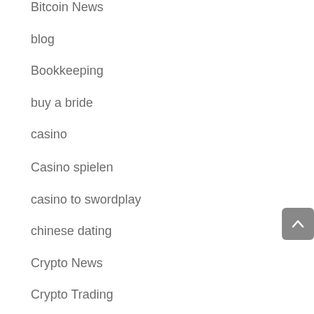Bitcoin News
blog
Bookkeeping
buy a bride
casino
Casino spielen
casino to swordplay
chinese dating
Crypto News
Crypto Trading
Education
Farmácia on-line